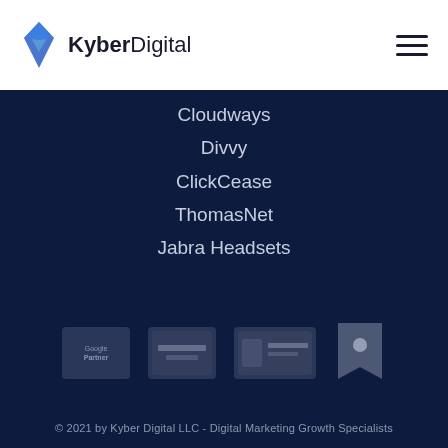[Figure (logo): KyberDigital logo with blue diamond icon and text 'KyberDigital']
Cloudways
Divvy
ClickCease
ThomasNet
Jabra Headsets
[Figure (other): Four partner/certification badge logos in a row: Google Partner, a dark badge, a dark rectangular badge, and a bookmark-style badge]
© 2021 by Kyber Digital LLC - Digital Marketing Growth Specialists